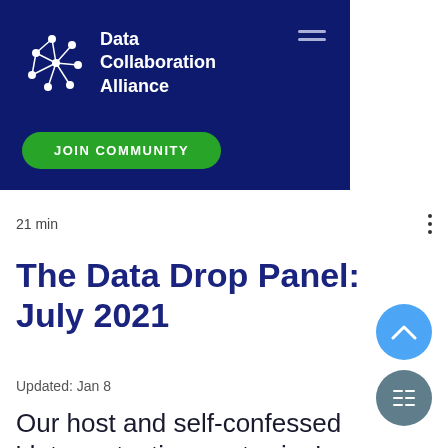[Figure (logo): Data Collaboration Alliance logo with network icon and white text on dark navy background, with JOIN COMMUNITY green button and hamburger menu]
21 min
The Data Drop Panel: July 2021
Updated: Jan 8
Our host and self-confessed 'data protection contrarian' Carou Loning takes a deeper